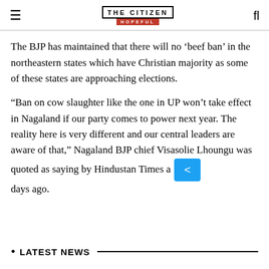THE CITIZEN – HOPEFUL
The BJP has maintained that there will no ‘beef ban’ in the northeastern states which have Christian majority as some of these states are approaching elections.
“Ban on cow slaughter like the one in UP won’t take effect in Nagaland if our party comes to power next year. The reality here is very different and our central leaders are aware of that,” Nagaland BJP chief Visasolie Lhoungu was quoted as saying by Hindustan Times a days ago.
LATEST NEWS